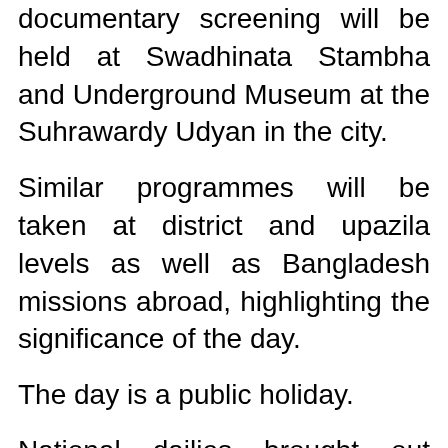documentary screening will be held at Swadhinata Stambha and Underground Museum at the Suhrawardy Udyan in the city.
Similar programmes will be taken at district and upazila levels as well as Bangladesh missions abroad, highlighting the significance of the day.
The day is a public holiday.
National dailies brought out special supplements on the occasion while Bangladesh Postal Department will release memorial postage stamps.
The state-owned and private televisions